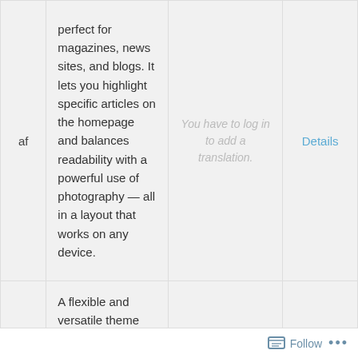|  | Description | Translation | Action |
| --- | --- | --- | --- |
| af | perfect for magazines, news sites, and blogs. It lets you highlight specific articles on the homepage and balances readability with a powerful use of photography — all in a layout that works on any device. | You have to log in to add a translation. | Details |
|  | A flexible and versatile theme perfect for magazines, news sites, and blogs. It lets you highlight specific articles on |  |  |
Follow ···